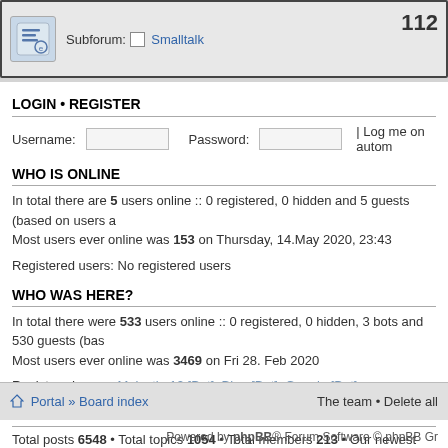[Figure (screenshot): Forum subforum row with icon and Smalltalk subforum label, showing count 112]
LOGIN • REGISTER
Username: [input] Password: [input] | Log me on autom
WHO IS ONLINE
In total there are 5 users online :: 0 registered, 0 hidden and 5 guests (based on users a
Most users ever online was 153 on Thursday, 14.May 2020, 23:43
Registered users: No registered users
WHO WAS HERE?
In total there were 533 users online :: 0 registered, 0 hidden, 3 bots and 530 guests (bas
Most users ever online was 3469 on Fri 28. Feb 2020
Registered users: Majestic-12 [Bot], Bing [Bot], Google [Bot]
STATISTICS
Total posts 6548 • Total topics 1054 • Total members 213 • Our newest member jes73
Portal » Board index    The team • Delete all    Powered by phpBB® Forum Software © phpBB Gr